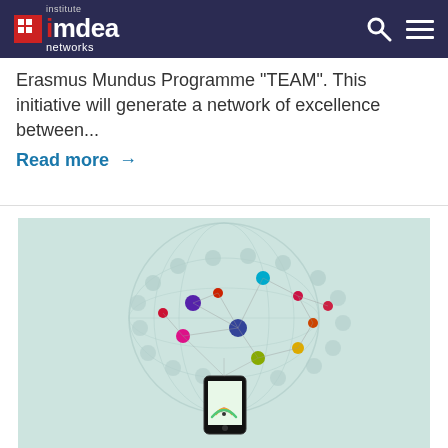institute iMdea networks
Erasmus Mundus Programme "TEAM". This initiative will generate a network of excellence between...
Read more →
[Figure (illustration): Network globe illustration with colorful connected nodes and icons, showing a smartphone at the bottom with a WiFi signal. Light teal background.]